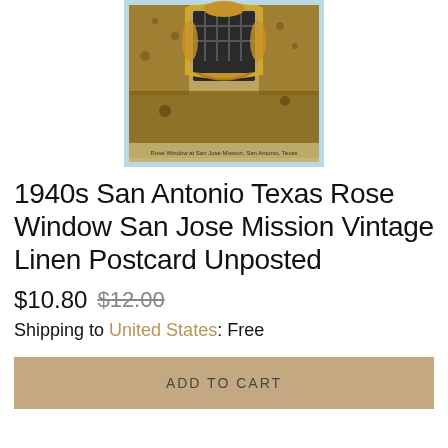[Figure (photo): Vintage linen postcard showing the Rose Window of San Jose Mission in San Antonio, Texas. Ornate carved stone window frame with decorative baroque stonework, photographed against a rocky wall, with a small caption text at the bottom reading 'Rose Window at San Jose Mission, San Antonio, Texas'.]
1940s San Antonio Texas Rose Window San Jose Mission Vintage Linen Postcard Unposted
$10.80 $12.00
Shipping to United States: Free
ADD TO CART